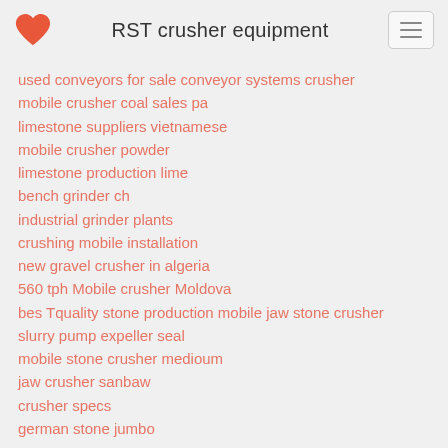RST crusher equipment
used conveyors for sale conveyor systems crusher
mobile crusher coal sales pa
limestone suppliers vietnamese
mobile crusher powder
limestone production lime
bench grinder ch
industrial grinder plants
crushing mobile installation
new gravel crusher in algeria
560 tph Mobile crusher Moldova
bes Tquality stone production mobile jaw stone crusher
slurry pump expeller seal
mobile stone crusher medioum
jaw crusher sanbaw
crusher specs
german stone jumbo